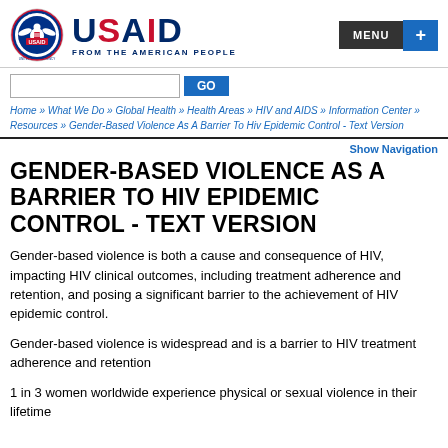[Figure (logo): USAID logo with circular seal on left and USAID text with FROM THE AMERICAN PEOPLE tagline]
[Figure (other): MENU and + navigation buttons in top right]
[Figure (other): Search input box with GO button]
Home » What We Do » Global Health » Health Areas » HIV and AIDS » Information Center » Resources » Gender-Based Violence As A Barrier To Hiv Epidemic Control - Text Version
Show Navigation
GENDER-BASED VIOLENCE AS A BARRIER TO HIV EPIDEMIC CONTROL - TEXT VERSION
Gender-based violence is both a cause and consequence of HIV, impacting HIV clinical outcomes, including treatment adherence and retention, and posing a significant barrier to the achievement of HIV epidemic control.
Gender-based violence is widespread and is a barrier to HIV treatment adherence and retention
1 in 3 women worldwide experience physical or sexual violence in their lifetime